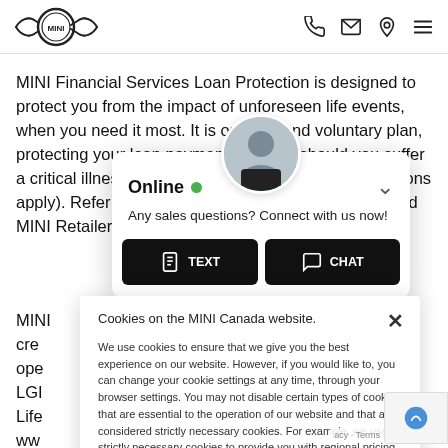[Figure (logo): MINI logo with wings in header]
MINI Financial Services Loan Protection is designed to protect you from the impact of unforeseen life events, when you need it most. It is optional and voluntary plan, protecting your loan payments to MINI should you suffer a critical illness, injury, or disability (terms and exclusions apply). Refer to the Insurance for complete details, and MINI Retailer
[Figure (screenshot): Online chat popup with agent avatar, 'Online' status indicator, 'Any sales questions? Connect with us now!' message, and TEXT and CHAT buttons]
[Figure (screenshot): Cookie consent banner: 'Cookies on the MINI Canada website.' with close X and body text about cookie usage]
MINI Financial Services credit by operated by LGIM Life www.